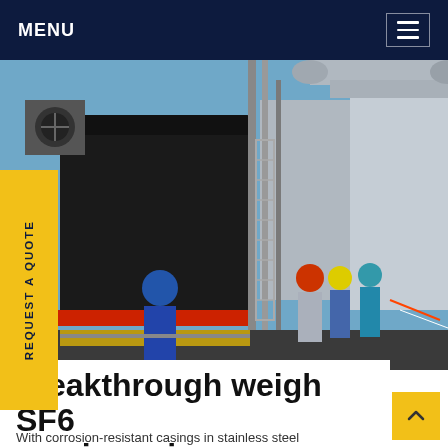MENU
[Figure (photo): Workers in hard hats and protective gear walking through an industrial facility with large black tanks, pipes, scaffolding and equipment under a blue sky]
REQUEST A QUOTE
breakthrough weigh SF6 service prices
With corrosion-resistant casings in stainless steel